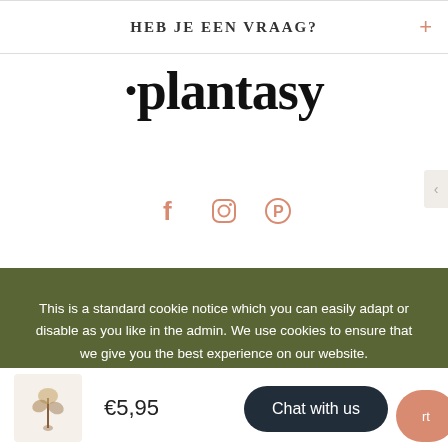HEB JE EEN VRAAG?
[Figure (logo): Plantasy brand logo in bold serif font with a dot before the word plantasy]
[Figure (infographic): Social media icons: Facebook (f), Instagram (circle/camera), Pinterest (P) in salmon/coral color]
This is a standard cookie notice which you can easily adapt or disable as you like in the admin. We use cookies to ensure that we give you the best experience on our website.
PRIVACY POLICY    ACCEPT ✓
[Figure (photo): Small product thumbnail showing a plant/seedling on a light background]
€5,95
Chat with us